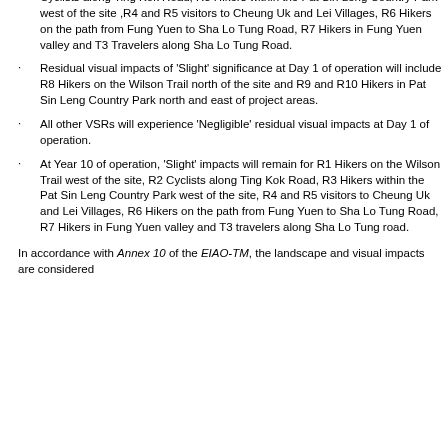Cyclists along Ting Kok Road, R3 Hikers within the Pat Sin Leng Country Park west of the site ,R4 and R5 visitors to Cheung Uk and Lei Villages, R6 Hikers on the path from Fung Yuen to Sha Lo Tung Road, R7 Hikers in Fung Yuen valley and T3 Travelers along Sha Lo Tung Road.
Residual visual impacts of 'Slight' significance at Day 1 of operation will include R8 Hikers on the Wilson Trail north of the site and R9 and R10 Hikers in Pat Sin Leng Country Park north and east of project areas.
All other VSRs will experience 'Negligible' residual visual impacts at Day 1 of operation.
At Year 10 of operation, 'Slight' impacts will remain for R1 Hikers on the Wilson Trail west of the site, R2 Cyclists along Ting Kok Road, R3 Hikers within the Pat Sin Leng Country Park west of the site, R4 and R5 visitors to Cheung Uk and Lei Villages, R6 Hikers on the path from Fung Yuen to Sha Lo Tung Road, R7 Hikers in Fung Yuen valley and T3 travelers along Sha Lo Tung road.
In accordance with Annex 10 of the EIAO-TM, the landscape and visual impacts are considered acceptable with mitigation.